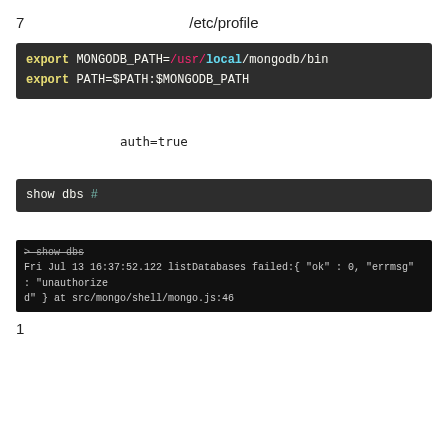7　　　　　　　　　　　/etc/profile
[Figure (screenshot): Code block showing: export MONGODB_PATH=/usr/local/mongodb/bin  export PATH=$PATH:$MONGODB_PATH]
auth=true
[Figure (screenshot): Terminal code block: show dbs #　　　　　　　　]
[Figure (screenshot): Terminal output: > show dbs
Fri Jul 13 16:37:52.122 listDatabases failed:{ "ok" : 0, "errmsg" : "unauthorized" } at src/mongo/shell/mongo.js:46]
1